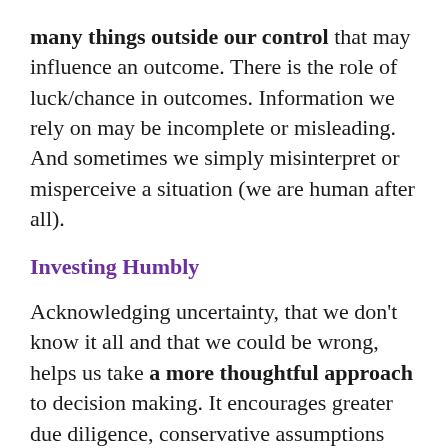many things outside our control that may influence an outcome. There is the role of luck/chance in outcomes. Information we rely on may be incomplete or misleading. And sometimes we simply misinterpret or misperceive a situation (we are human after all).
Investing Humbly
Acknowledging uncertainty, that we don't know it all and that we could be wrong, helps us take a more thoughtful approach to decision making. It encourages greater due diligence, conservative assumptions and sharpens our focus.
Humility can help us stay true to our personal investment plan and it reduces the likelihood of making costly mistakes. And in my experience as an